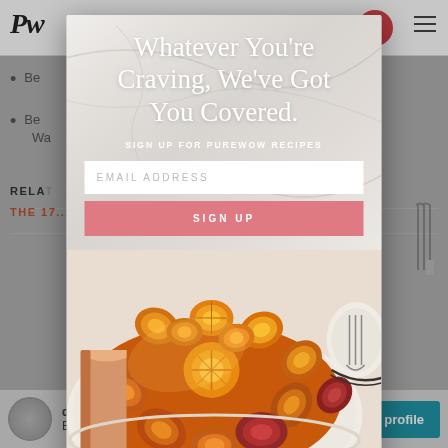PW [logo] navigation bar with hamburger menu
Be... [truncated by modal] ...zino
Be... [truncated by modal] ...t Wa...
RELATED
THE 17...
[Figure (screenshot): Modal popup overlay on a website with marble background showing text 'Whatever You're Craving, We've Got You Covered.' with email signup form and photo of orange upside-down cake]
Whatever You're Craving, We've Got You Covered.
SIGN UP FOR PUREWOW RECIPES
EMAIL ADDRESS
SIGN UP
d... B... profile